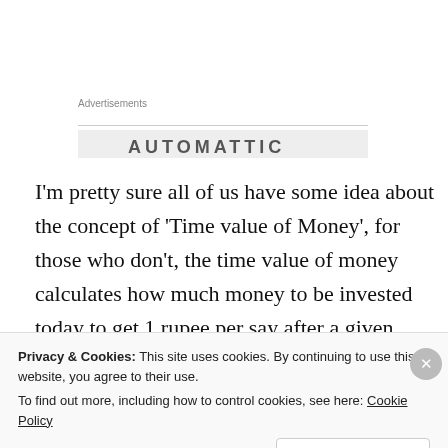Advertisements
[Figure (logo): AUTOMATTIC logo/header bar partially visible]
I'm pretty sure all of us have some idea about the concept of 'Time value of Money', for those who don't, the time value of money calculates how much money to be invested today to get 1 rupee per say after a given period of time.
Privacy & Cookies: This site uses cookies. By continuing to use this website, you agree to their use. To find out more, including how to control cookies, see here: Cookie Policy
Close and accept